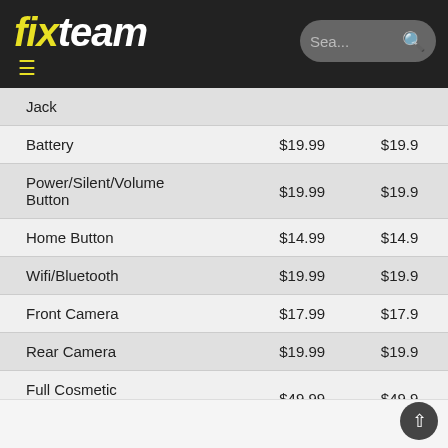fixteam
| Service | Price 1 | Price 2 |
| --- | --- | --- |
| Jack |  |  |
| Battery | $19.99 | $19.9 |
| Power/Silent/Volume Button | $19.99 | $19.9 |
| Home Button | $14.99 | $14.9 |
| Wifi/Bluetooth | $19.99 | $19.9 |
| Front Camera | $17.99 | $17.9 |
| Rear Camera | $19.99 | $19.9 |
| Full Cosmetic (Excluding LCD) | $49.99 | $49.9 |
| Diagnostic Service/Board Inspection | FREE | FREE |
| Liquid Damage | $29.99 | $29.9 |